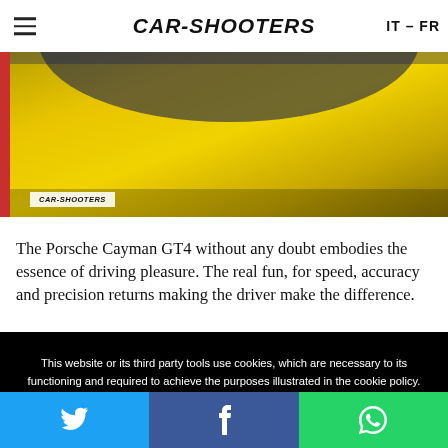CAR-SHOOTERS  IT – FR
[Figure (photo): Close-up photo of a yellow Porsche Cayman GT4 body panel with a blue windshield/roof section visible. CAR-SHOOTERS watermark in lower left corner.]
The Porsche Cayman GT4 without any doubt embodies the essence of driving pleasure. The real fun, for speed, accuracy and precision returns making the driver make the difference.
This website or its third party tools use cookies, which are necessary to its functioning and required to achieve the purposes illustrated in the cookie policy. By closing this banner, scrolling this page, clicking a link or continuing to browse otherwise, you agree to the use of cookies.